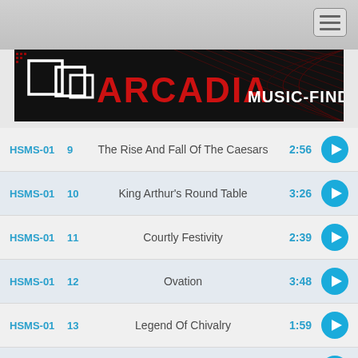[Figure (logo): Arcadia Music-Finder banner with dark background, red geometric shapes, and white/red text]
HSMS-01  9  The Rise And Fall Of The Caesars  2:56
HSMS-01  10  King Arthur's Round Table  3:26
HSMS-01  11  Courtly Festivity  2:39
HSMS-01  12  Ovation  3:48
HSMS-01  13  Legend Of Chivalry  1:59
HSMS-01  14  Courting  2:34
HSMS-01  15  Dream  2:46